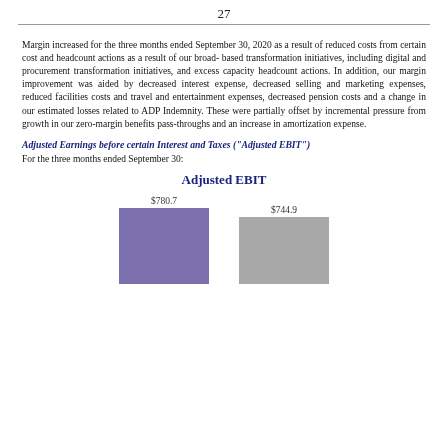27
Margin increased for the three months ended September 30, 2020 as a result of reduced costs from certain cost and headcount actions as a result of our broad-based transformation initiatives, including digital and procurement transformation initiatives, and excess capacity headcount actions. In addition, our margin improvement was aided by decreased interest expense, decreased selling and marketing expenses, reduced facilities costs and travel and entertainment expenses, decreased pension costs and a change in our estimated losses related to ADP Indemnity. These were partially offset by incremental pressure from growth in our zero-margin benefits pass-throughs and an increase in amortization expense.
Adjusted Earnings before certain Interest and Taxes ("Adjusted EBIT")
For the three months ended September 30:
[Figure (bar-chart): Adjusted EBIT]